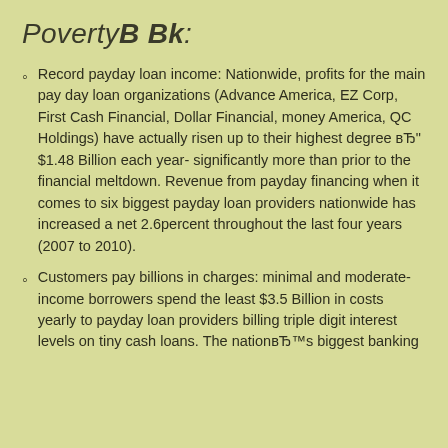PovertyВ Bk:
Record payday loan income: Nationwide, profits for the main pay day loan organizations (Advance America, EZ Corp, First Cash Financial, Dollar Financial, money America, QC Holdings) have actually risen up to their highest degree вЂ" $1.48 Billion each year- significantly more than prior to the financial meltdown. Revenue from payday financing when it comes to six biggest payday loan providers nationwide has increased a net 2.6percent throughout the last four years (2007 to 2010).
Customers pay billions in charges: minimal and moderate-income borrowers spend the least $3.5 Billion in costs yearly to payday loan providers billing triple digit interest levels on tiny cash loans. The nationвЂ™s biggest banking…